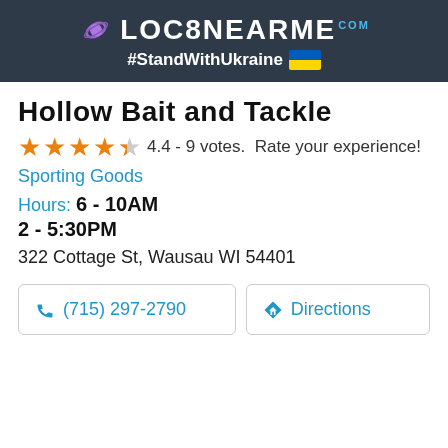LOC8NEARME.com #StandWithUkraine 🇺🇦
Hollow Bait and Tackle
4.4 - 9 votes. Rate your experience!
Sporting Goods
Hours: 6 - 10AM
2 - 5:30PM
322 Cottage St, Wausau WI 54401
(715) 297-2790
Directions